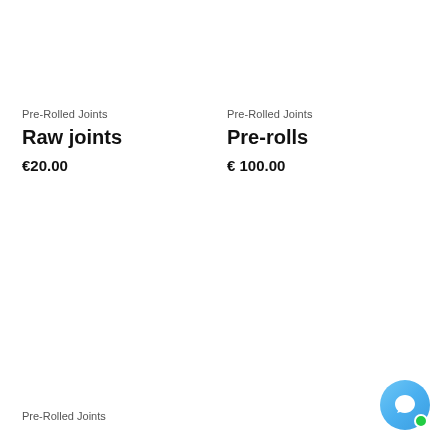Pre-Rolled Joints
Raw joints
€20.00
Pre-Rolled Joints
Pre-rolls
€ 100.00
Pre-Rolled Joints